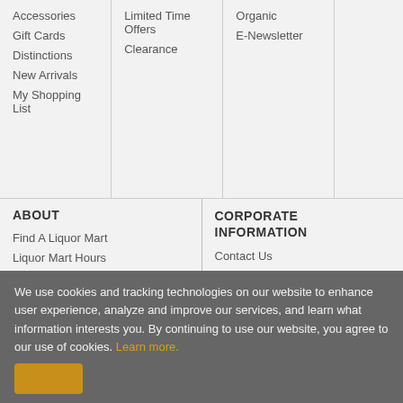Accessories
Gift Cards
Distinctions
New Arrivals
My Shopping List
Limited Time Offers
Clearance
Organic
E-Newsletter
ABOUT
Find A Liquor Mart
Liquor Mart Hours
Container Deposits
Product Return Policy
Special Orders
Controlled Entrances
Shop Online
CORPORATE INFORMATION
Contact Us
Careers
About Us
Land
Acknowledgement
Media Centre
We use cookies and tracking technologies on our website to enhance user experience, analyze and improve our services, and learn what information interests you. By continuing to use our website, you agree to our use of cookies. Learn more.